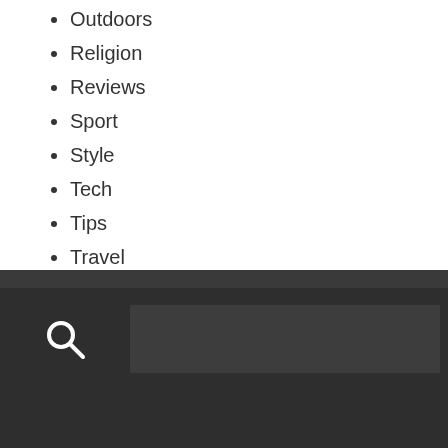Outdoors
Religion
Reviews
Sport
Style
Tech
Tips
Travel
Uncategorized
Wedding
Women's Care
[Figure (screenshot): Dark footer area with a search bar containing a magnifying glass icon on the left and a dark text input field on the right]